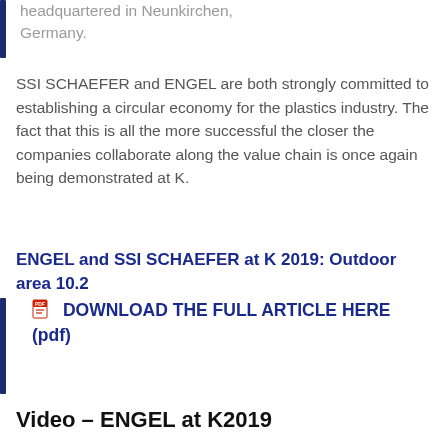headquartered in Neunkirchen, Germany.
SSI SCHAEFER and ENGEL are both strongly committed to establishing a circular economy for the plastics industry. The fact that this is all the more successful the closer the companies collaborate along the value chain is once again being demonstrated at K.
ENGEL and SSI SCHAEFER at K 2019: Outdoor area 10.2
DOWNLOAD THE FULL ARTICLE HERE (pdf)
Video – ENGEL at K2019